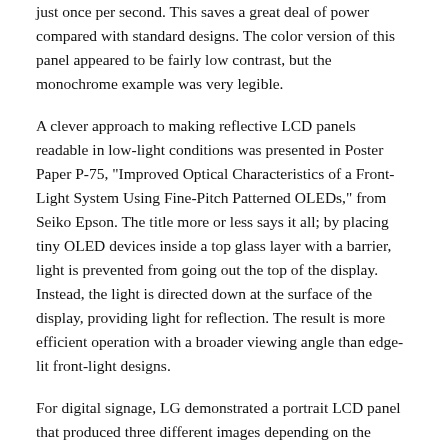just once per second. This saves a great deal of power compared with standard designs. The color version of this panel appeared to be fairly low contrast, but the monochrome example was very legible.
A clever approach to making reflective LCD panels readable in low-light conditions was presented in Poster Paper P-75, "Improved Optical Characteristics of a Front-Light System Using Fine-Pitch Patterned OLEDs," from Seiko Epson. The title more or less says it all; by placing tiny OLED devices inside a top glass layer with a barrier, light is prevented from going out the top of the display. Instead, the light is directed down at the surface of the display, providing light for reflection. The result is more efficient operation with a broader viewing angle than edge-lit front-light designs.
For digital signage, LG demonstrated a portrait LCD panel that produced three different images depending on the viewing angle (Fig. 1). Similar designs have been shown before with smaller panels intended for applications such as automotive-dashboard displays, but this was much larger. And in one of the SID keynote addresses, InJae Chung, Executive Vice President and CTO of LG Display, described another innovative use of controlling the viewing angle on LCD panels. LG's "Viewing Image Control" technology allows a selectively switchable viewing angle of a display –